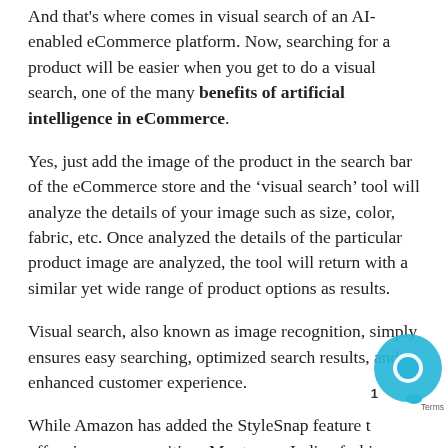And that's where comes in visual search of an AI-enabled eCommerce platform. Now, searching for a product will be easier when you get to do a visual search, one of the many benefits of artificial intelligence in eCommerce.
Yes, just add the image of the product in the search bar of the eCommerce store and the 'visual search' tool will analyze the details of your image such as size, color, fabric, etc. Once analyzed the details of the particular product image are analyzed, the tool will return with a similar yet wide range of product options as results.
Visual search, also known as image recognition, simply ensures easy searching, optimized search results, and enhanced customer experience.
While Amazon has added the StyleSnap feature that offers image recognition; Myntra, an Indian fashion